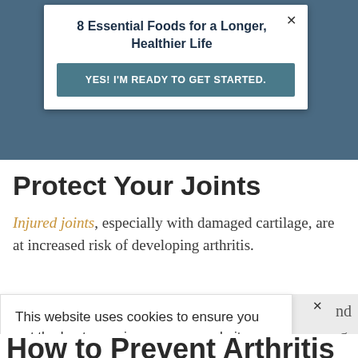[Figure (screenshot): Top modal popup with title '8 Essential Foods for a Longer, Healthier Life' and a teal 'YES! I'M READY TO GET STARTED.' button, with a dark blue-grey background behind it and a close X button.]
Protect Your Joints
Injured joints, especially with damaged cartilage, are at increased risk of developing arthritis.
[Figure (screenshot): Cookie consent popup with text 'This website uses cookies to ensure you get the best experience on our website.' and two buttons: 'Decline' and 'Accept' (green outlined). Behind it on the right are partially visible words 'nd' and 'g.' and the words 'oint' and 'd add'. A close X is visible top right of the grey section.]
How to Prevent Arthritis